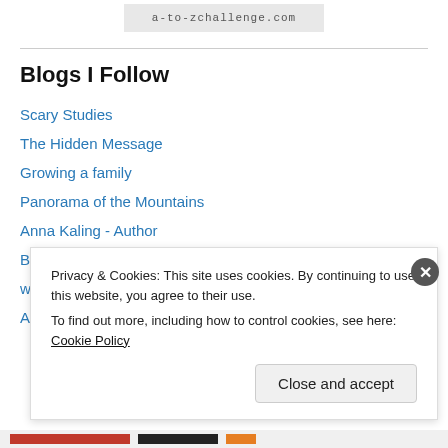a-to-zchallenge.com
Blogs I Follow
Scary Studies
The Hidden Message
Growing a family
Panorama of the Mountains
Anna Kaling - Author
Boccob's Blessed Blog
wolfenoot.wordpress.com/
As Told By Carly
Privacy & Cookies: This site uses cookies. By continuing to use this website, you agree to their use.
To find out more, including how to control cookies, see here: Cookie Policy
Close and accept